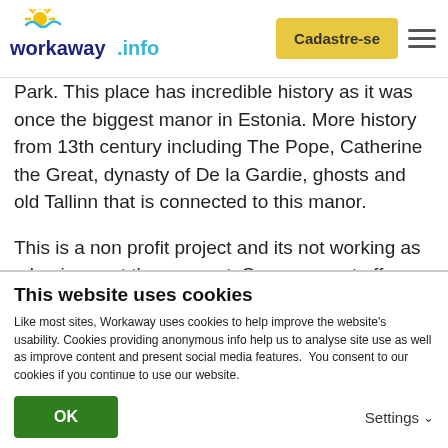workaway.info | Cadastre-se
Park. This place has incredible history as it was once the biggest manor in Estonia. More history from 13th century including The Pope, Catherine the Great, dynasty of De la Gardie, ghosts and old Tallinn that is connected to this manor.
This is a non profit project and its not working as a business at the moment. So we cannot offer payments but we can offer people the opportunity to see and discover the world and give their contribution
This website uses cookies
Like most sites, Workaway uses cookies to help improve the website's usability. Cookies providing anonymous info help us to analyse site use as well as improve content and present social media features.  You consent to our cookies if you continue to use our website.
OK | Settings